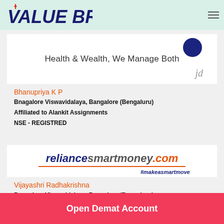VALUE BROKING
[Figure (logo): Broker profile card with dark circle icon and text 'Health & Wealth, We Manage Both']
Bhanupriya K P
Bnagalore Viswavidalaya, Bangalore (Bengaluru)
Affiliated to Alankit Assignments
NSE - REGISTRED
[Figure (logo): reliancesmartmoney.com logo with #makeasmartmove tagline]
Vijayashri Radhakrishna
Bnagalore Viswavidalaya, Bangalore (Bengaluru)
Open Demat Account